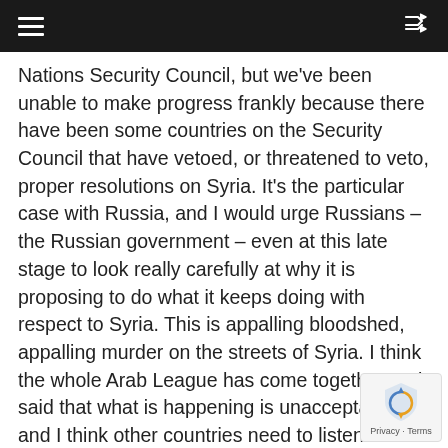[Navigation bar with hamburger menu and shuffle icon]
Nations Security Council, but we've been unable to make progress frankly because there have been some countries on the Security Council that have vetoed, or threatened to veto, proper resolutions on Syria. It's the particular case with Russia, and I would urge Russians – the Russian government – even at this late stage to look really carefully at why it is proposing to do what it keeps doing with respect to Syria. This is appalling bloodshed, appalling murder on the streets of Syria. I think the whole Arab League has come together and said that what is happening is unacceptable, and I think other countries need to listen to that and act on that, including at the United Nations. Britain stands ready to do that; France stands ready to do that; I'm sure America does too, but the other